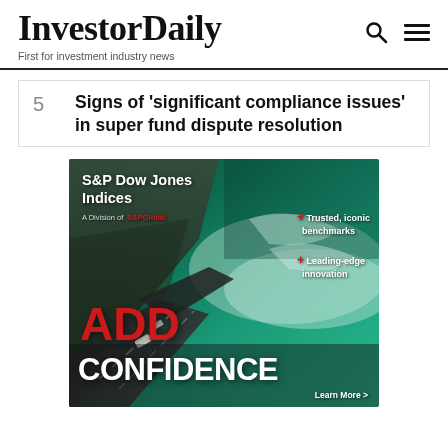InvestorDaily — First for investment industry news
5 Signs of 'significant compliance issues' in super fund dispute resolution
[Figure (illustration): S&P Dow Jones Indices advertisement. Aerial photograph of a coastal road with ocean and rocky terrain. Text: 'S&P Dow Jones Indices — A Division of S&P Global — Trusted, iconic benchmarks — Leading-edge innovation — ADD CONFIDENCE — Learn More']